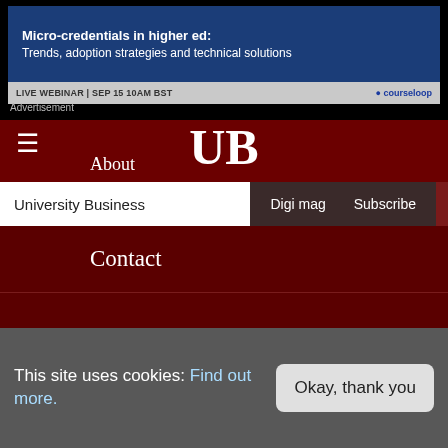[Figure (screenshot): Advertisement banner for courseloop webinar: Micro-credentials in higher ed: Trends, adoption strategies and technical solutions. LIVE WEBINAR | SEP 15 10AM BST]
Advertisement
≡  UB  About
University Business    Digi mag    Subscribe
Contact
Privacy policy
Terms and conditions
This site uses cookies: Find out more.    Okay, thank you